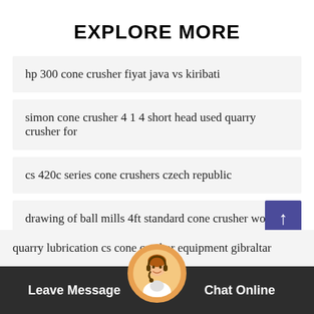EXPLORE MORE
hp 300 cone crusher fiyat java vs kiribati
simon cone crusher 4 1 4 short head used quarry crusher for
cs 420c series cone crushers czech republic
drawing of ball mills 4ft standard cone crusher wood
c s cone crusher hong kong
quarry lubrication cs cone crusher equipment gibraltar
Leave Message   Chat Online